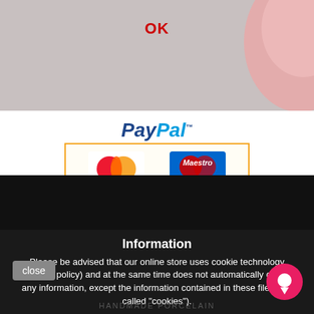[Figure (screenshot): Top grey bar with OK text in red/bold and pink ceramic object partially visible in top-right corner]
[Figure (logo): PayPal logo with payment card icons: MasterCard, Maestro, VISA, VISA Electron, American Express, Direct Debit inside an orange-bordered box]
Information
Please be advised that our online store uses cookie technology (privacy policy) and at the same time does not automatically collect any information, except the information contained in these files (so-called "cookies").
HANDMADE PORCELAIN